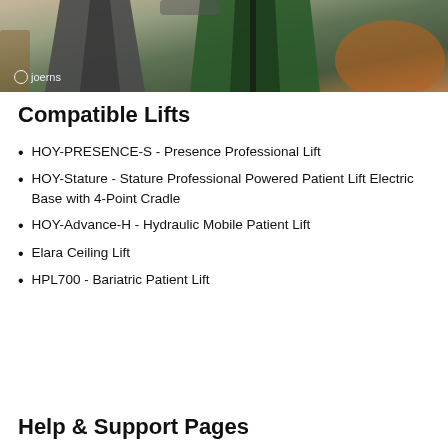[Figure (photo): Photo of patient lift slings/equipment including dark gray and green slings hanging, with chairs visible in background. Joerns logo visible in lower left corner.]
Compatible Lifts
HOY-PRESENCE-S - Presence Professional Lift
HOY-Stature - Stature Professional Powered Patient Lift Electric Base with 4-Point Cradle
HOY-Advance-H - Hydraulic Mobile Patient Lift
Elara Ceiling Lift
HPL700 - Bariatric Patient Lift
Help & Support Pages